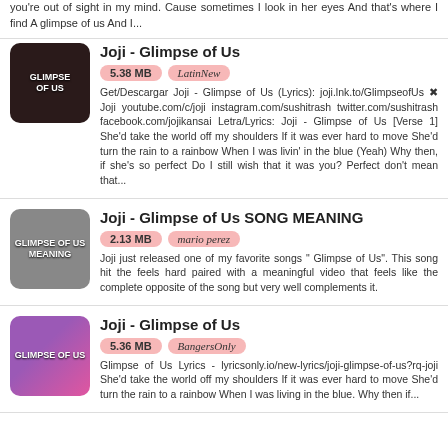you're out of sight in my mind. Cause sometimes I look in her eyes And that's where I find A glimpse of us And I...
Joji - Glimpse of Us
5.38 MB   LatinNew
Get/Descargar Joji - Glimpse of Us (Lyrics): joji.lnk.to/GlimpseofUs ✖ Joji youtube.com/c/joji instagram.com/sushitrash twitter.com/sushitrash facebook.com/jojikansai Letra/Lyrics: Joji - Glimpse of Us [Verse 1] She'd take the world off my shoulders If it was ever hard to move She'd turn the rain to a rainbow When I was livin' in the blue (Yeah) Why then, if she's so perfect Do I still wish that it was you? Perfect don't mean that...
Joji - Glimpse of Us SONG MEANING
2.13 MB   mario perez
Joji just released one of my favorite songs " Glimpse of Us". This song hit the feels hard paired with a meaningful video that feels like the complete opposite of the song but very well complements it.
Joji - Glimpse of Us
5.36 MB   BangersOnly
Glimpse of Us Lyrics - lyricsonly.io/new-lyrics/joji-glimpse-of-us?rq-joji She'd take the world off my shoulders If it was ever hard to move She'd turn the rain to a rainbow When I was living in the blue. Why then if...